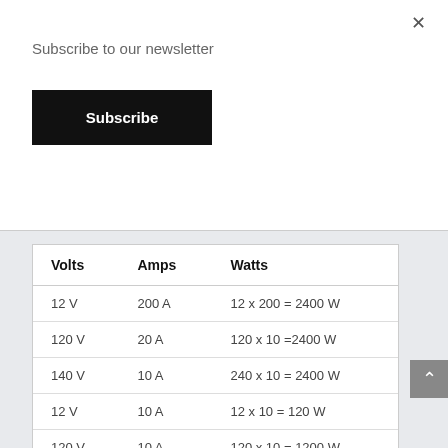Subscribe to our newsletter
Subscribe
| Volts | Amps | Watts |
| --- | --- | --- |
| 12 V | 200 A | 12 x 200 = 2400 W |
| 120 V | 20 A | 120 x 10 =2400 W |
| 140 V | 10 A | 240 x 10 = 2400 W |
| 12 V | 10 A | 12 x 10 = 120 W |
| 120 V | 10 A | 120 x 10 = 1200 W |